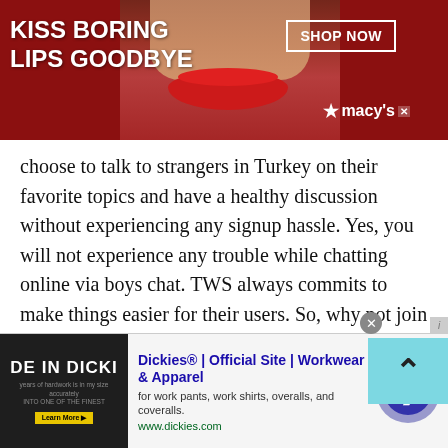[Figure (screenshot): Top advertisement banner for Macy's with dark red background, text 'KISS BORING LIPS GOODBYE', image of woman's face with red lips, 'SHOP NOW' button, and Macy's logo with star.]
choose to talk to strangers in Turkey on their favorite topics and have a healthy discussion without experiencing any signup hassle. Yes, you will not experience any trouble while chatting online via boys chat. TWS always commits to make things easier for their users. So, why not join TWS free chat today! You will never regret your decision!
Girls chat room
[Figure (screenshot): Teal/cyan colored scroll-to-top button with upward chevron arrow icon.]
[Figure (screenshot): Bottom advertisement for Dickies showing 'DE IN DICKI' image on dark background, ad title 'Dickies® | Official Site | Workwear & Apparel', description 'for work pants, work shirts, overalls, and coveralls.', URL 'www.dickies.com', and a purple circular arrow button.]